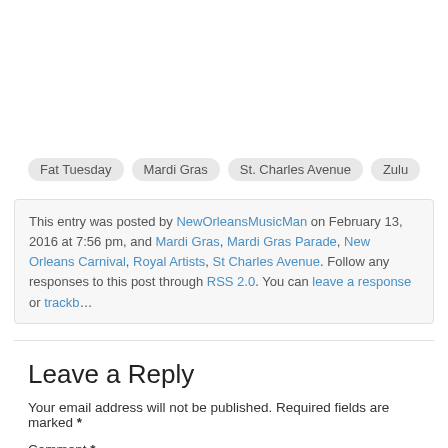Fat Tuesday  Mardi Gras  St. Charles Avenue  Zulu
This entry was posted by NewOrleansMusicMan on February 13, 2016 at 7:56 pm, and Mardi Gras, Mardi Gras Parade, New Orleans Carnival, Royal Artists, St Charles Avenue. Follow any responses to this post through RSS 2.0. You can leave a response or trackba
Leave a Reply
Your email address will not be published. Required fields are marked *
Comment *